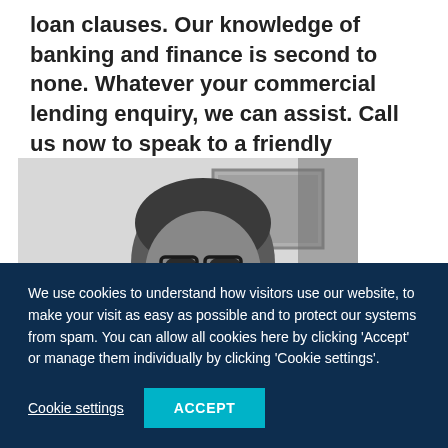loan clauses. Our knowledge of banking and finance is second to none. Whatever your commercial lending enquiry, we can assist. Call us now to speak to a friendly solicitor.
[Figure (photo): Black and white photo of a man with glasses in an office setting with a framed picture on the wall behind him]
We use cookies to understand how visitors use our website, to make your visit as easy as possible and to protect our systems from spam. You can allow all cookies here by clicking 'Accept' or manage them individually by clicking 'Cookie settings'.
Cookie settings
ACCEPT